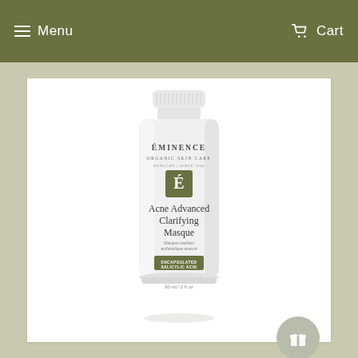Menu   Cart
[Figure (photo): Éminence Organic Skin Care Acne Advanced Clarifying Masque product tube (60 ml / 2 fl oz) with white packaging, olive green logo badge, encapsulated salicylic acid label, on white background within a sage-green page.]